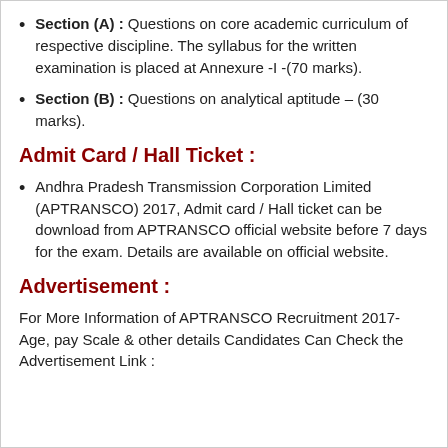Section (A) : Questions on core academic curriculum of respective discipline. The syllabus for the written examination is placed at Annexure -I -(70 marks).
Section (B) : Questions on analytical aptitude – (30 marks).
Admit Card / Hall Ticket :
Andhra Pradesh Transmission Corporation Limited (APTRANSCO) 2017, Admit card / Hall ticket can be download from APTRANSCO official website before 7 days for the exam. Details are available on official website.
Advertisement :
For More Information of APTRANSCO Recruitment 2017- Age, pay Scale & other details Candidates Can Check the Advertisement Link :